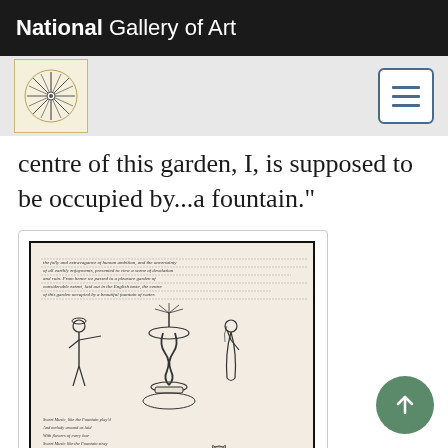National Gallery of Art
centre of this garden, I, is supposed to be occupied by...a fountain."
[Figure (illustration): A manuscript page showing handwritten text at top and bottom, with a pen-and-ink drawing of two figures flanking a fountain on a pedestal, and below a small owl or similar bird sitting on a dome-shaped object.]
Lewis Miller, "Sweet Music, like the Fountain